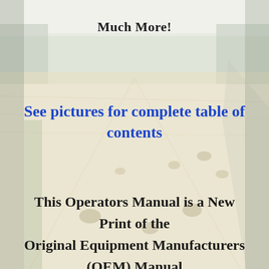Much More!
See pictures for complete table of contents
This Operators Manual is a New Print of the Original Equipment Manufacturers (OEM) Manual